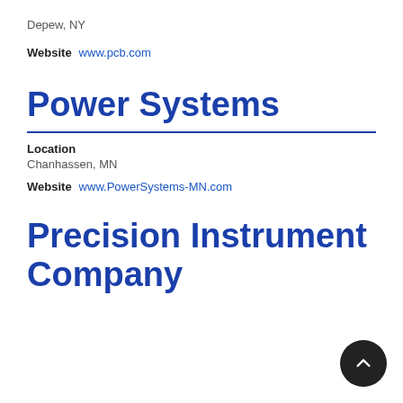Depew, NY
Website  www.pcb.com
Power Systems
Location
Chanhassen, MN
Website  www.PowerSystems-MN.com
Precision Instrument Company